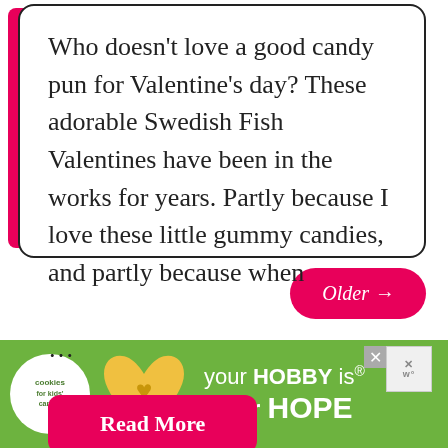Who doesn't love a good candy pun for Valentine's day? These adorable Swedish Fish Valentines have been in the works for years. Partly because I love these little gummy candies, and partly because when …
Read More
Older →
[Figure (screenshot): Advertisement banner with green background showing 'your HOBBY is their HOPE' text with cookies for kids cancer logo and a heart-shaped cookie image, with close buttons]